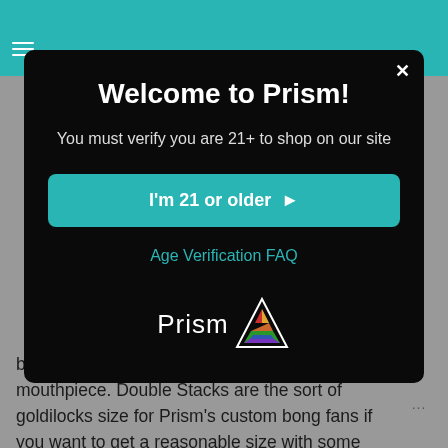21+ ONLY | TOBACCO USE ONLY | FREE SHIPPING IN THE US FOR ORDERS $100 OR MORE | SEE FLAT SHIPPING RATES FOR INTERNATIONAL...
Welcome to Prism!
You must verify you are 21+ to shop on our site
I'm 21 or older ▶
Age Verification FAQ
[Figure (logo): Prism logo with text 'Prism' and a triangular prism icon with rainbow colors]
bongs include a base, percolator, and a mouthpiece. Double Stacks are the sort of goldilocks size for Prism's custom bong fans if you want to get a reasonable size with some extra filtration. Don't forget, you can always start with a Single Stack and complete your Double